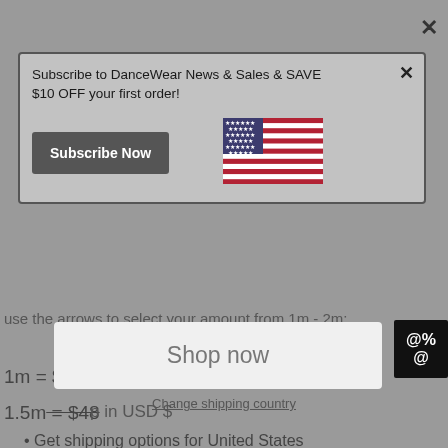Subscribe to DanceWear News & Sales & SAVE $10 OFF your first order!
[Figure (illustration): Subscribe Now button (dark grey rectangle with white bold text)]
[Figure (illustration): US flag icon]
use the arrows to select your amount from 1m - 2m:
Dancewear For You ships to United States
1m = $36
1.5m = $48
Shop in USD $
Get shipping options for United States
2m = $66
2.5m
Shop now
3m = $95
Change shipping country
3.5m = $111
4m = $126